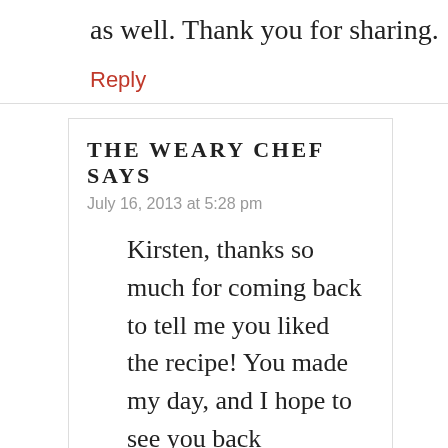as well. Thank you for sharing.
Reply
THE WEARY CHEF SAYS
July 16, 2013 at 5:28 pm
Kirsten, thanks so much for coming back to tell me you liked the recipe! You made my day, and I hope to see you back